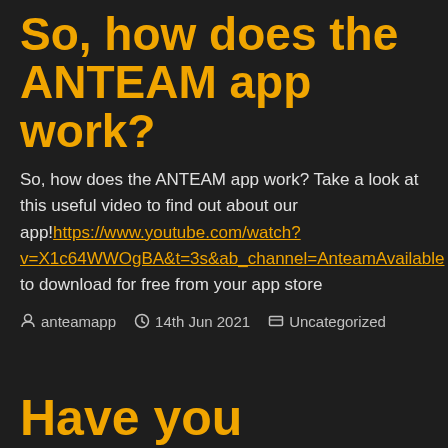So, how does the ANTEAM app work?
So, how does the ANTEAM app work? Take a look at this useful video to find out about our app!https://www.youtube.com/watch?v=X1c64WWOgBA&t=3s&ab_channel=AnteamAvailable to download for free from your app store
anteamapp   14th Jun 2021   Uncategorized
Have you downloaded the ANTEAM app yet?